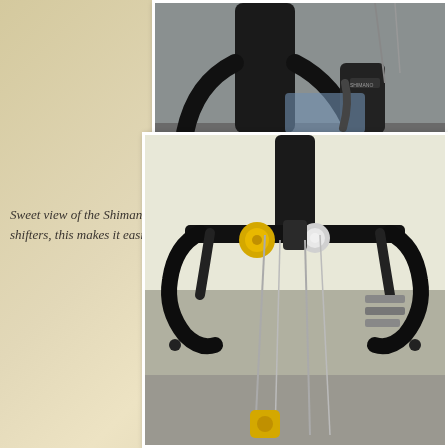[Figure (photo): Close-up view of Shimano 105 shifters on road bike handlebars, showing the brake lever and shifter mechanism with cables]
Sweet view of the Shimano 105 shifters. I am using the 10mm adju shifters, this makes it easier to grip while ho
[Figure (photo): Front view of road bicycle handlebars showing drop bars with brake levers, shifters, a yellow bell, a white bell/light, and multiple cables running down]